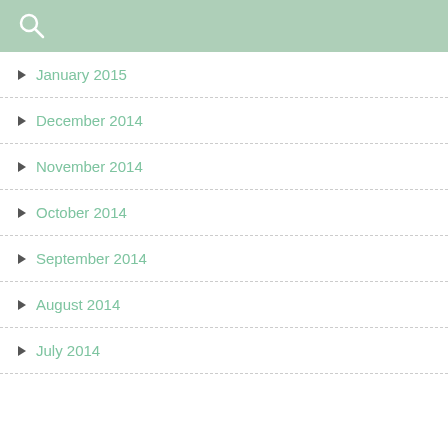[Figure (screenshot): Search bar with magnifying glass icon on green background]
January 2015
December 2014
November 2014
October 2014
September 2014
August 2014
July 2014